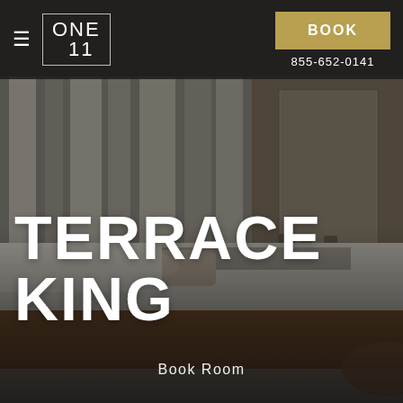[Figure (photo): Hotel room interior showing a large king-sized bed with white/grey bedding and wooden frame, sheer curtains in background, mirror and vanity visible on right side. Dark, moody luxury hotel room aesthetic.]
≡  ONE 11  |  BOOK  855-652-0141
TERRACE KING
Book Room